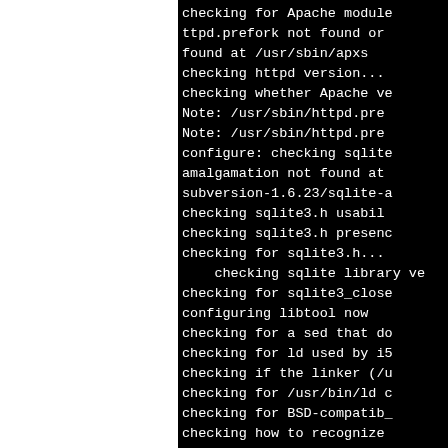[Figure (screenshot): Terminal/console output showing configure script checks for Apache modules, httpd version, sqlite, libtool, sed, ld, linker, BSD-compat, dlfcn.h on a black background with white monospace text. Left portion of screen is white (page boundary crop).]